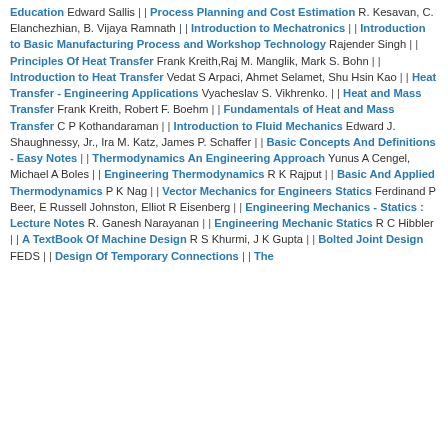Education Edward Sallis | | Process Planning and Cost Estimation R. Kesavan, C. Elanchezhian, B. Vijaya Ramnath | | Introduction to Mechatronics | | Introduction to Basic Manufacturing Process and Workshop Technology Rajender Singh | | Principles Of Heat Transfer Frank Kreith,Raj M. Manglik, Mark S. Bohn | | Introduction to Heat Transfer Vedat S Arpaci, Ahmet Selamet, Shu Hsin Kao | | Heat Transfer - Engineering Applications Vyacheslav S. Vikhrenko. | | Heat and Mass Transfer Frank Kreith, Robert F. Boehm | | Fundamentals of Heat and Mass Transfer C P Kothandaraman | | Introduction to Fluid Mechanics Edward J. Shaughnessy, Jr., Ira M. Katz, James P. Schaffer | | Basic Concepts And Definitions - Easy Notes | | Thermodynamics An Engineering Approach Yunus A Cengel, Michael A Boles | | Engineering Thermodynamics R K Rajput | | Basic And Applied Thermodynamics P K Nag | | Vector Mechanics for Engineers Statics Ferdinand P Beer, E Russell Johnston, Elliot R Eisenberg | | Engineering Mechanics - Statics : Lecture Notes R. Ganesh Narayanan | | Engineering Mechanic Statics R C Hibbler | | A TextBook Of Machine Design R S Khurmi, J K Gupta | | Bolted Joint Design FEDS | | Design Of Temporary Connections | | The